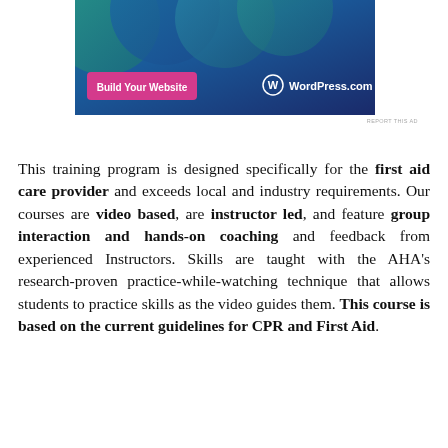[Figure (other): WordPress.com advertisement banner with blue gradient background, circular design elements, a pink 'Build Your Website' button, and WordPress.com logo in white text]
This training program is designed specifically for the first aid care provider and exceeds local and industry requirements. Our courses are video based, are instructor led, and feature group interaction and hands-on coaching and feedback from experienced Instructors. Skills are taught with the AHA's research-proven practice-while-watching technique that allows students to practice skills as the video guides them. This course is based on the current guidelines for CPR and First Aid.